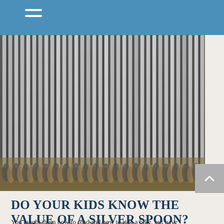[Figure (photo): Close-up photograph of many silver spoons stacked together, showing the handles and curved bowl areas, with a metallic silver/grey appearance and some warm reflections at the base.]
DO YOUR KIDS KNOW THE VALUE OF A SILVER SPOON?
You taught them how to read and how to ride a bike, but have